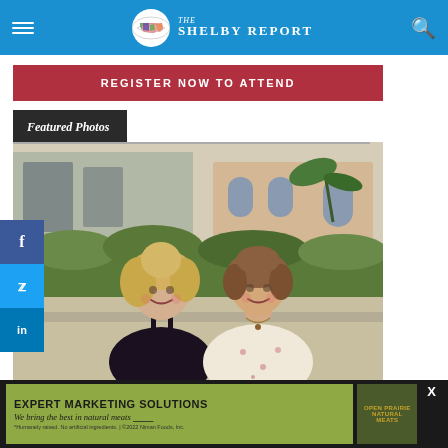The Shelby Report
REGISTER NOW TO ATTEND
Featured Photos
[Figure (photo): Two women smiling outdoors in front of a building with arched windows and tropical landscaping. The younger woman on the left has curly blonde hair and wears a dark floral top. The older woman on the right has short brown hair and wears a light floral dress.]
EXPERT MARKETING SOLUTIONS — We bring the best in natural meats